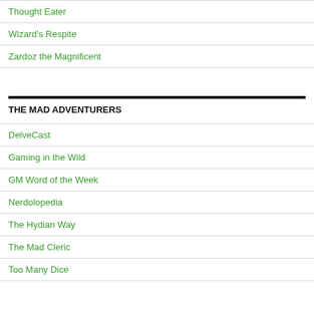Thought Eater
Wizard's Respite
Zardoz the Magnificent
THE MAD ADVENTURERS
DelveCast
Gaming in the Wild
GM Word of the Week
Nerdolopedia
The Hydian Way
The Mad Cleric
Too Many Dice